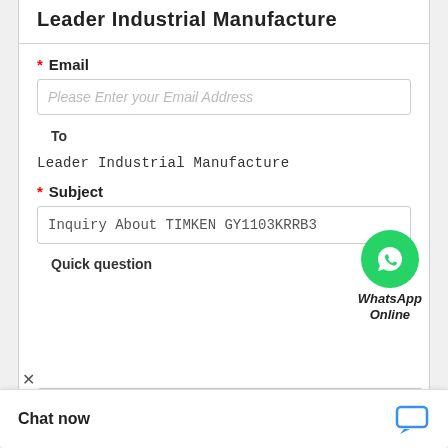Leader Industrial Manufacture
* Email
Please Enter your Email Address
To
Leader Industrial Manufacture
[Figure (logo): WhatsApp green circle icon with phone handset, labeled WhatsApp Online in italic bold text]
* Subject
Inquiry About TIMKEN GY1103KRRB3
Quick question
Quick question
Chat now